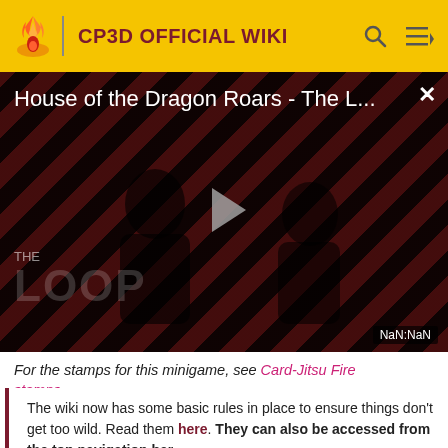CP3D OFFICIAL WIKI
[Figure (screenshot): Video thumbnail for 'House of the Dragon Roars - The L...' with red diagonal stripe background, play button, silhouette figures, 'THE LOOP' text overlay, and NaN:NaN timestamp]
For the stamps for this minigame, see Card-Jitsu Fire stamps.
The wiki now has some basic rules in place to ensure things don't get too wild. Read them here. They can also be accessed from the top navigation bar.